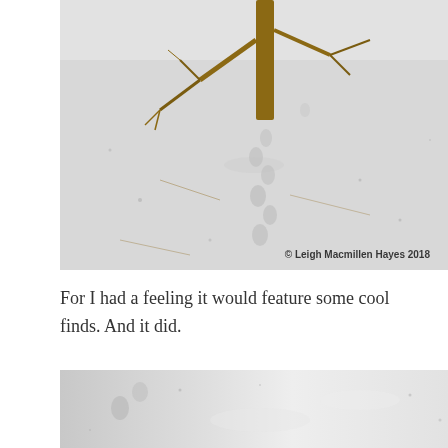[Figure (photo): Winter outdoor photo showing animal tracks (footprints) in snow near a bare tree trunk with thin branches. Copyright watermark reads '© Leigh Macmillen Hayes 2018' in bottom right corner.]
For I had a feeling it would feature some cool finds. And it did.
[Figure (photo): Partial winter photo showing snow surface with animal tracks visible, cropped at bottom of page.]